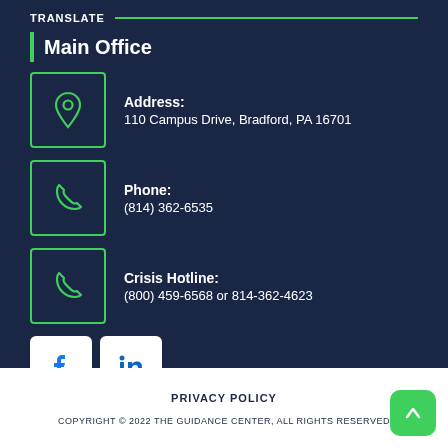TRANSLATE
Main Office
Address:
110 Campus Drive, Bradford, PA 16701
Phone:
(814) 362-6535
Crisis Hotline:
(800) 459-6568 or 814-362-4623
[Figure (logo): Facebook and LinkedIn social media icons]
PRIVACY POLICY
COPYRIGHT © 2022 THE GUIDANCE CENTER, ALL RIGHTS RESERVED